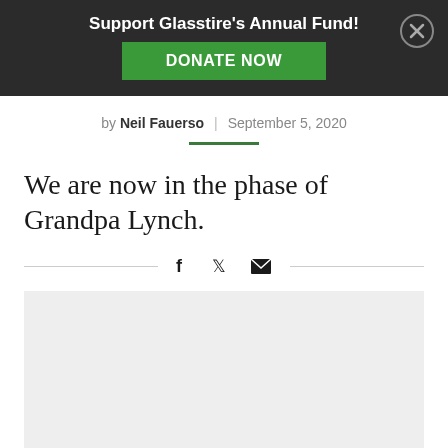Support Glasstire's Annual Fund! DONATE NOW
by Neil Fauerso | September 5, 2020
We are now in the phase of Grandpa Lynch.
[Figure (other): Social share icons: Facebook, Twitter, Email]
[Figure (photo): Large light gray image placeholder area]